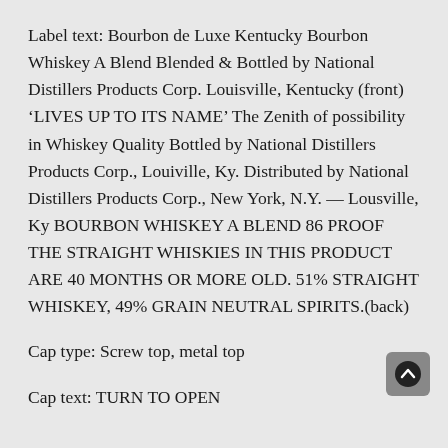Label text: Bourbon de Luxe Kentucky Bourbon Whiskey A Blend Blended & Bottled by National Distillers Products Corp. Louisville, Kentucky (front) ‘LIVES UP TO ITS NAME’ The Zenith of possibility in Whiskey Quality Bottled by National Distillers Products Corp., Louiville, Ky. Distributed by National Distillers Products Corp., New York, N.Y. — Lousville, Ky BOURBON WHISKEY A BLEND 86 PROOF THE STRAIGHT WHISKIES IN THIS PRODUCT ARE 40 MONTHS OR MORE OLD. 51% STRAIGHT WHISKEY, 49% GRAIN NEUTRAL SPIRITS.(back)
Cap type: Screw top, metal top
Cap text: TURN TO OPEN